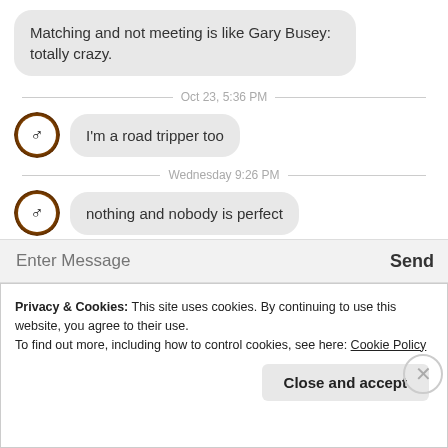Matching and not meeting is like Gary Busey: totally crazy.
Oct 23, 5:36 PM
I'm a road tripper too
Wednesday 9:26 PM
nothing and nobody is perfect
Enter Message
Send
Privacy & Cookies: This site uses cookies. By continuing to use this website, you agree to their use.
To find out more, including how to control cookies, see here: Cookie Policy
Close and accept